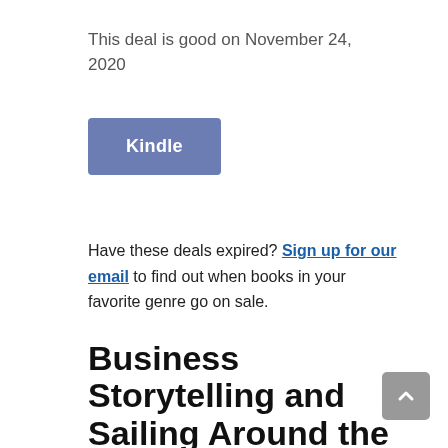This deal is good on November 24, 2020
[Figure (other): Kindle button — a blue-purple rectangular button with white bold text 'Kindle']
Have these deals expired? Sign up for our email to find out when books in your favorite genre go on sale.
Business Storytelling and Sailing Around the World: Discounted Nonfiction Books